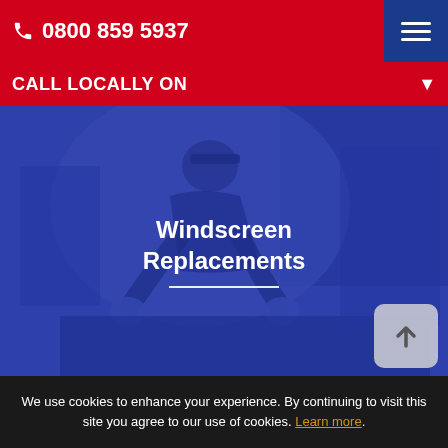0800 859 5937
CALL LOCALLY ON
[Figure (photo): A technician in dark clothing and gloves working on a windscreen, shown against a blue-tinted overlay. White text reads 'Windscreen Replacements' with a white horizontal divider line beneath.]
We use cookies to enhance your experience. By continuing to visit this site you agree to our use of cookies. Learn more.